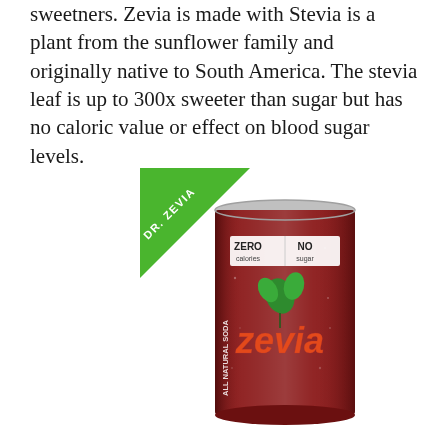sweetners. Zevia is made with Stevia is a plant from the sunflower family and originally native to South America. The stevia leaf is up to 300x sweeter than sugar but has no caloric value or effect on blood sugar levels.
[Figure (photo): A dark red Zevia Dr. Zevia soda can with a green triangular banner in the top left reading 'DR. ZEVIA'. The can shows 'ZERO calories | NO sugar' text and the Zevia logo with green leaf design. The can reads 'ALL NATURAL SODA' along the side.]